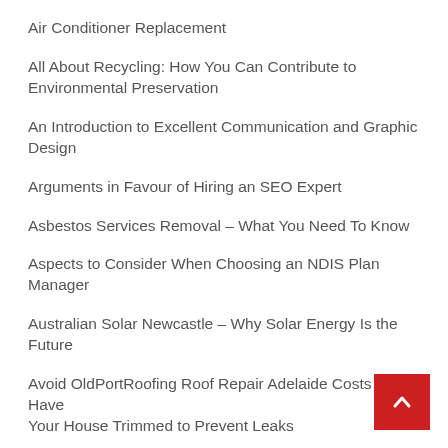Air Conditioner Replacement
All About Recycling: How You Can Contribute to Environmental Preservation
An Introduction to Excellent Communication and Graphic Design
Arguments in Favour of Hiring an SEO Expert
Asbestos Services Removal – What You Need To Know
Aspects to Consider When Choosing an NDIS Plan Manager
Australian Solar Newcastle – Why Solar Energy Is the Future
Avoid OldPortRoofing Roof Repair Adelaide Costs – Have Your House Trimmed to Prevent Leaks
Baling Twine – The Perfect Solution For Your Barn Or Horse Race
Bathroom Remodeling Considerations